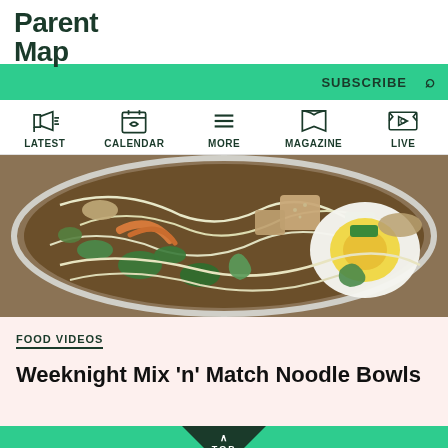ParentMap
SUBSCRIBE
LATEST | CALENDAR | MORE | MAGAZINE | LIVE
[Figure (photo): Bowl of noodle soup with egg, vegetables, tofu, and broth]
FOOD VIDEOS
Weeknight Mix 'n' Match Noodle Bowls
TOP